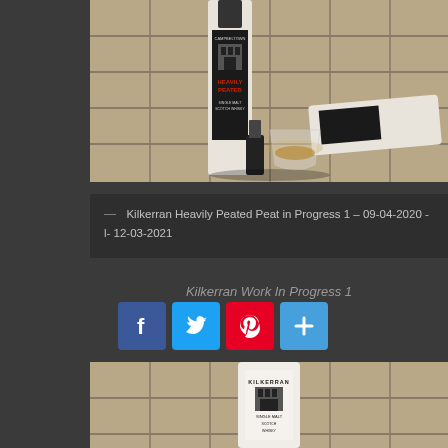[Figure (photo): Photo of Kilkerran Heavily Peated whisky bottle and a small glass of whisky on a tiled surface]
— Kilkerran Heavily Peated Peat in Progress 1 – 09-04-2020 -l- 12-03-2021
Kilkerran Work In Progress 1
[Figure (infographic): Social sharing buttons: Facebook, Twitter, Pinterest, Share/Add]
[Figure (photo): Photo of Kilkerran single malt Scotch whisky white box/tube]